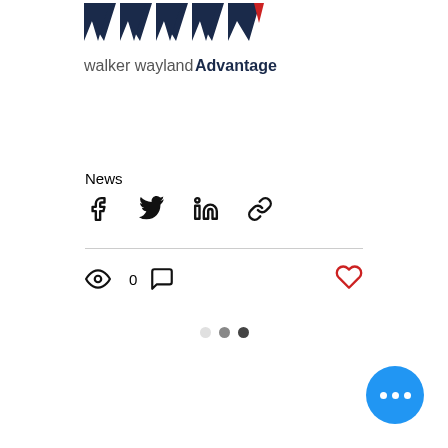[Figure (logo): Walker Wayland Advantage logo with dark blue W shapes and red accent, text reads 'walker wayland Advantage']
News
[Figure (infographic): Social share icons: Facebook, Twitter, LinkedIn, and link/chain icon]
[Figure (infographic): View count (eye icon with '0'), comment icon, and heart/like icon on the right]
[Figure (infographic): Three pagination dots: white, gray, dark]
[Figure (infographic): Blue circular FAB button with three white dots (ellipsis)]